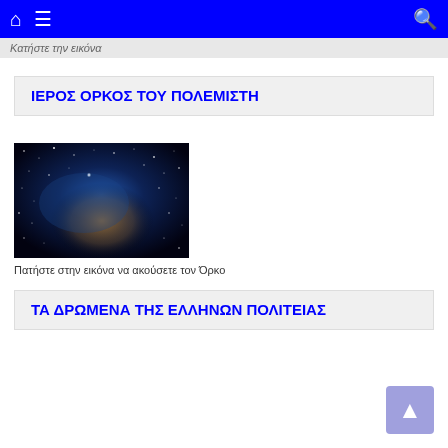Κατήστε την εικόνα
ΙΕΡΟΣ ΟΡΚΟΣ ΤΟΥ ΠΟΛΕΜΙΣΤΗ
[Figure (photo): Space nebula photo showing stars and cosmic dust with blue and orange tones against dark background]
Πατήστε στην εικόνα να ακούσετε τον Όρκο
ΤΑ ΔΡΩΜΕΝΑ ΤΗΣ ΕΛΛΗΝΩΝ ΠΟΛΙΤΕΙΑΣ